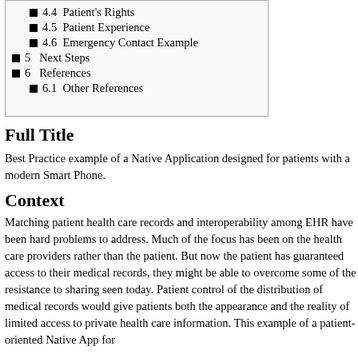4.4 Patient's Rights
4.5 Patient Experience
4.6 Emergency Contact Example
5 Next Steps
6 References
6.1 Other References
Full Title
Best Practice example of a Native Application designed for patients with a modern Smart Phone.
Context
Matching patient health care records and interoperability among EHR have been hard problems to address. Much of the focus has been on the health care providers rather than the patient. But now the patient has guaranteed access to their medical records, they might be able to overcome some of the resistance to sharing seen today. Patient control of the distribution of medical records would give patients both the appearance and the reality of limited access to private health care information. This example of a patient-oriented Native App for